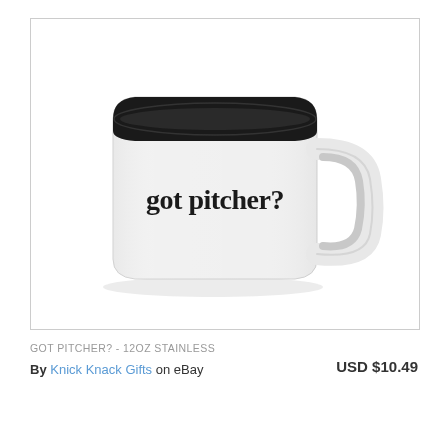[Figure (photo): White enamel camping mug with black rim and handle, printed with the text 'got pitcher?' in bold lowercase sans-serif font on the front.]
GOT PITCHER? - 12OZ STAINLESS
By Knick Knack Gifts on eBay
USD $10.49